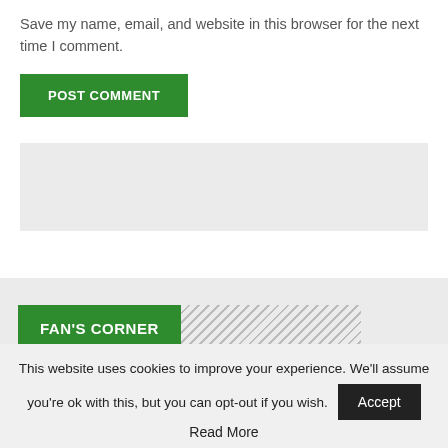Save my name, email, and website in this browser for the next time I comment.
POST COMMENT
[Figure (other): Gray advertisement placeholder box]
[Figure (other): Gray section box with FAN'S CORNER green label bar and diagonal stripe pattern, Arsenal logo and partial text 'Join Arsenal Fans Corner']
This website uses cookies to improve your experience. We'll assume you're ok with this, but you can opt-out if you wish.
Accept
Read More